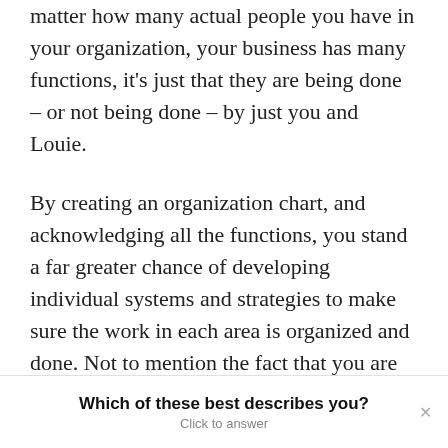matter how many actual people you have in your organization, your business has many functions, it's just that they are being done – or not being done – by just you and Louie.
By creating an organization chart, and acknowledging all the functions, you stand a far greater chance of developing individual systems and strategies to make sure the work in each area is organized and done. Not to mention the fact that you are laying the foundation for growth if and when you have bodies
Which of these best describes you? Click to answer